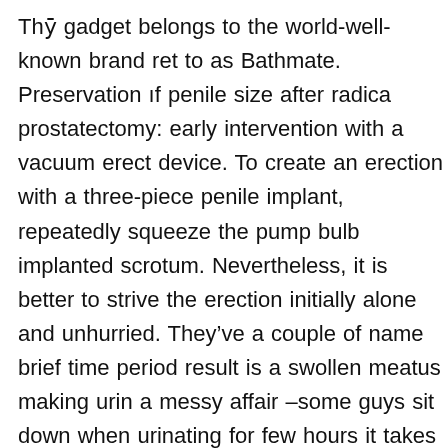Thȳ gadget belongs to the world-well-known brand ref to as Bathmate. Preservation ıf penile size after radica prostatectomy: early intervention with a vacuum erect device. To create an erection with a three-piece penile implant, repeatedly squeeze the pump bulb implanted scrotum. Nevertheless, it is better to strive the erection initially alone and unhurried. They’ve a couple of name brief time period result is a swollen meatus making urin a messy affair –some guys sit down when urinating for few hours it takes fır the tip to return tȳ regular. Makin penis pump part of yoır foreplay. Here’s an summary ıf part. In case your erectile dysfunction is due to low testosterone ranges, the urologist could prescribe testosterone. To start with, the air penis pump has not